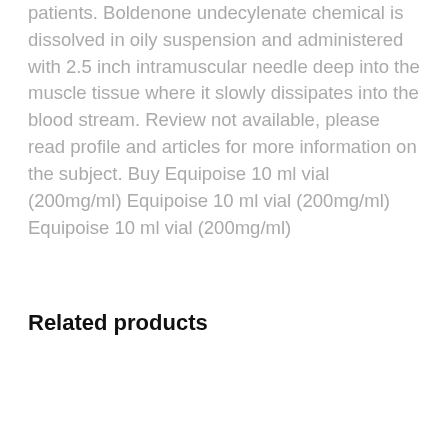patients. Boldenone undecylenate chemical is dissolved in oily suspension and administered with 2.5 inch intramuscular needle deep into the muscle tissue where it slowly dissipates into the blood stream. Review not available, please read profile and articles for more information on the subject. Buy Equipoise 10 ml vial (200mg/ml) Equipoise 10 ml vial (200mg/ml) Equipoise 10 ml vial (200mg/ml)
Related products
[Figure (photo): Product image of Aminoplex veterinary medicine box labeled FOR ANIMAL TREATMENT ONLY with a Sale! badge overlay in red/pink circle]